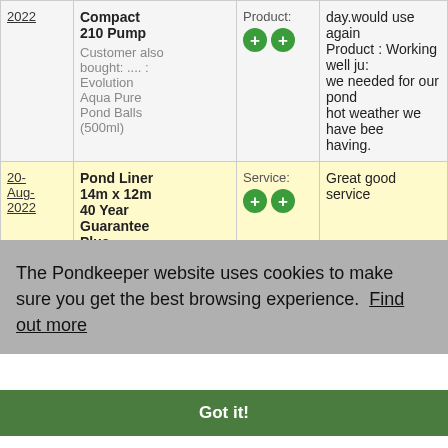| Date | Product | Rating | Review |
| --- | --- | --- | --- |
| 2022 | Compact 210 Pump
Customer also bought: .... : Evolution Aqua Pure Pond Balls (500ml) | Product: ++ | day.would use again
Product : Working well just we needed for our pond hot weather we have been having. |
| 20-Aug-2022 | Pond Liner 14m x 12m 40 Year Guarantee Plus | Service: ++ | Great good service |
The Pondkeeper website uses cookies to make sure you get the best browsing experience.  Find out more
Got it!
Plus Underlay